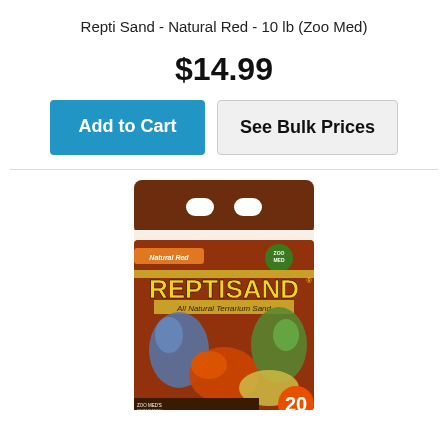Repti Sand - Natural Red - 10 lb (Zoo Med)
$14.99
[Figure (screenshot): Two UI buttons: 'Add to Cart' (blue) and 'See Bulk Prices' (light gray)]
[Figure (photo): Zoo Med ReptiSand Natural Red 20 lb bag product photo showing reptiles and birds on a red sand background with REPTISAND logo and 'All Natural Terrarium Sand' text]